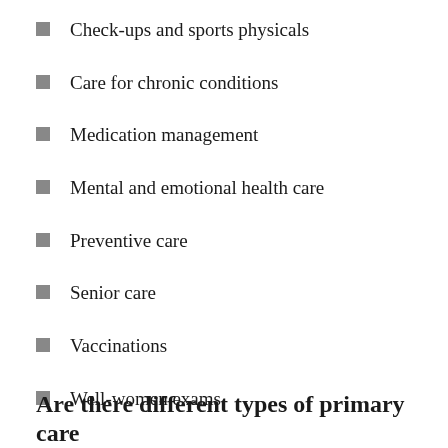Check-ups and sports physicals
Care for chronic conditions
Medication management
Mental and emotional health care
Preventive care
Senior care
Vaccinations
Well-women exams
Are there different types of primary care